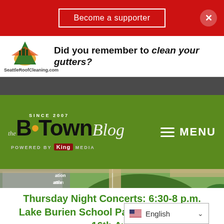Become a supporter
[Figure (advertisement): Seattle Roof Cleaning ad with logo and text: Did you remember to clean your gutters?]
[Figure (logo): B-Town Blog logo, Since 2007, Powered by King Media, with MENU hamburger icon on green background]
[Figure (map): Aerial satellite map showing Des Moines Memorial Dr, Tub Lake, Pat Ryan Field area]
Thursday Night Concerts: 6:30-8 p.m. Lake Burien School Park SW 148th and 16th Av
[Figure (screenshot): Language selector widget showing English with US flag]